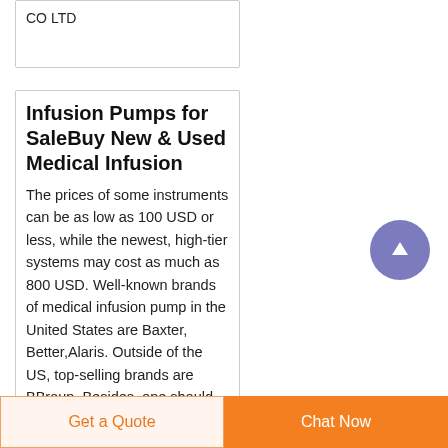CO LTD
Infusion Pumps for SaleBuy New & Used Medical Infusion
The prices of some instruments can be as low as 100 USD or less, while the newest, high-tier systems may cost as much as 800 USD. Well-known brands of medical infusion pump in the United States are Baxter, Better,Alaris. Outside of the US, top-selling brands are BBraun. Besides, one should
[Figure (other): Circular scroll-to-top button with upward arrow, purple/blue color]
Get a Quote  Chat Now